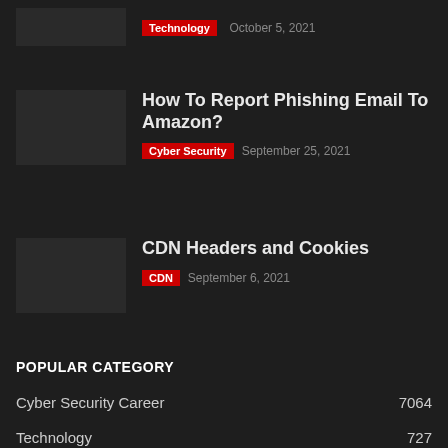Technology  October 5, 2021
How To Report Phishing Email To Amazon?
Cyber Security  September 25, 2021
CDN Headers and Cookies
CDN  September 6, 2021
POPULAR CATEGORY
Cyber Security Career  7064
Technology  727
Cyber Security  395
MSP  310
...  277